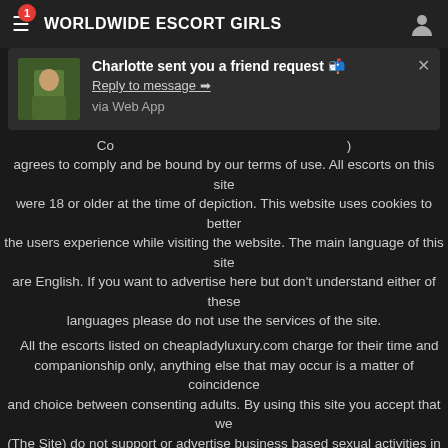WORLDWIDE ESCORT GIRLS
[Figure (screenshot): Notification popup: Charlotte sent you a friend request. Reply to message → via Web App. Close button (×) in top right.]
agrees to comply and be bound by our terms of use. All escorts on this site were 18 or older at the time of depiction. This website uses cookies to better the users experience while visiting the website. The main language of this site are English. If you want to advertise here but don't understand either of these languages please do not use the services of the site.

All the escorts listed on cheapladyluxury.com charge for their time and companionship only, anything else that may occur is a matter of coincidence and choice between consenting adults. By using this site you accept that we (The Site) do not support or advertise business based sexual activities in any forms therefore you (The Advertiser) hereby declare that you offer your time and companionship only in your advertisement(s). You also accept that we do not support any forms of sexual activited based business partnerships therefore every advertiser on this site must be an independent individual.
Ewa Pernilla (24), Italy, escort model